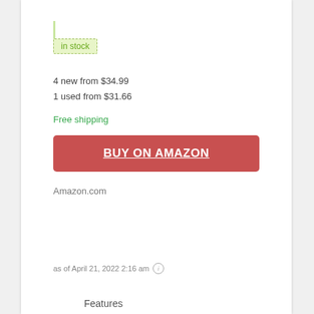in stock
4 new from $34.99
1 used from $31.66
Free shipping
BUY ON AMAZON
Amazon.com
as of April 21, 2022 2:16 am
Features